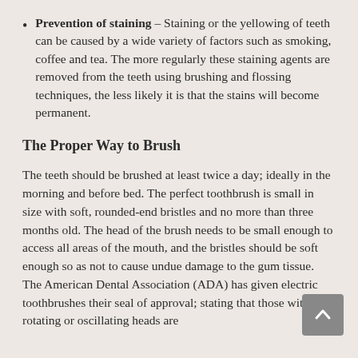Prevention of staining – Staining or the yellowing of teeth can be caused by a wide variety of factors such as smoking, coffee and tea.  The more regularly these staining agents are removed from the teeth using brushing and flossing techniques, the less likely it is that the stains will become permanent.
The Proper Way to Brush
The teeth should be brushed at least twice a day; ideally in the morning and before bed.  The perfect toothbrush is small in size with soft, rounded-end bristles and no more than three months old.  The head of the brush needs to be small enough to access all areas of the mouth, and the bristles should be soft enough so as not to cause undue damage to the gum tissue.  The American Dental Association (ADA) has given electric toothbrushes their seal of approval; stating that those with rotating or oscillating heads are